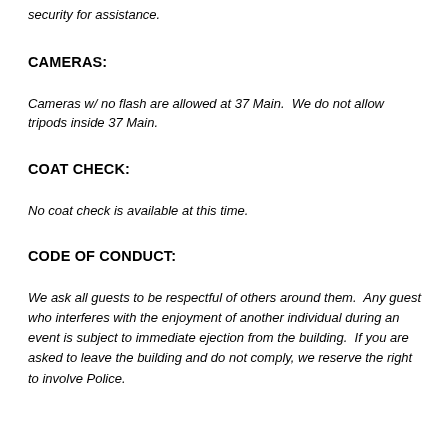security for assistance.
CAMERAS:
Cameras w/ no flash are allowed at 37 Main.  We do not allow tripods inside 37 Main.
COAT CHECK:
No coat check is available at this time.
CODE OF CONDUCT:
We ask all guests to be respectful of others around them.  Any guest who interferes with the enjoyment of another individual during an event is subject to immediate ejection from the building.  If you are asked to leave the building and do not comply, we reserve the right to involve Police.